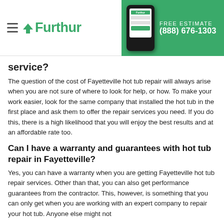Furthur — FREE ESTIMATE (888) 676-1303
service?
The question of the cost of Fayetteville hot tub repair will always arise when you are not sure of where to look for help, or how. To make your work easier, look for the same company that installed the hot tub in the first place and ask them to offer the repair services you need. If you do this, there is a high likelihood that you will enjoy the best results and at an affordable rate too.
Can I have a warranty and guarantees with hot tub repair in Fayetteville?
Yes, you can have a warranty when you are getting Fayetteville hot tub repair services. Other than that, you can also get performance guarantees from the contractor. This, however, is something that you can only get when you are working with an expert company to repair your hot tub. Anyone else might not